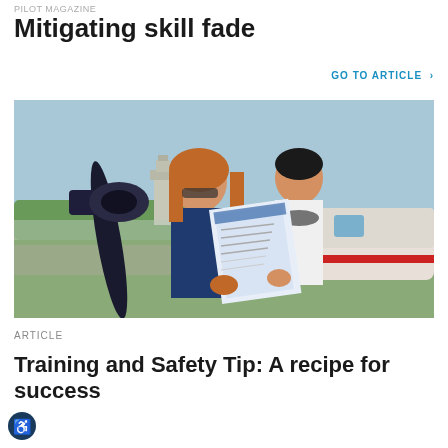PILOT MAGAZINE
Mitigating skill fade
GO TO ARTICLE >
[Figure (photo): Two people standing in front of a small propeller aircraft on an airfield, reviewing a document together. A woman with red hair wearing a navy top and sunglasses, and a man with dark hair wearing a white polo shirt with aviation headset around his neck.]
ARTICLE
Training and Safety Tip: A recipe for success